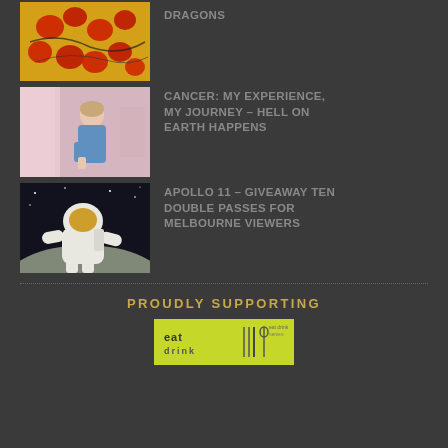[Figure (photo): Thumbnail image of red dragons pattern on yellow background]
DRAGONS
[Figure (photo): Thumbnail photo of a woman in a blue dress sitting]
CANCER: MY EXPERIENCE, MY JOURNEY – HELL ON EARTH HAPPENS
[Figure (photo): Thumbnail photo of an astronaut on the moon surface]
APOLLO 11 – GIVEAWAY TEN DOUBLE PASSES FOR MELBOURNE VIEWERS
PROUDLY SUPPORTING
[Figure (logo): eat drink logo on yellow-green background]